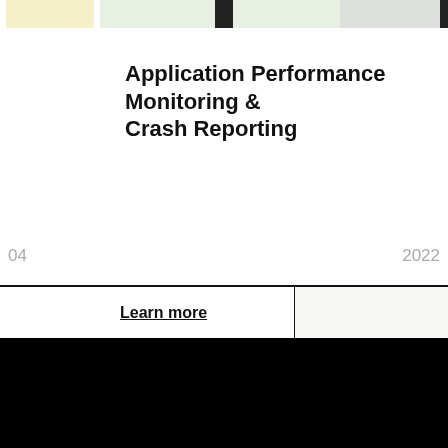Application Performance Monitoring & Crash Reporting
04
2022
Learn more